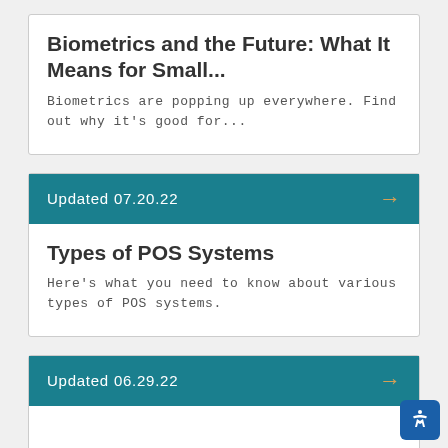Biometrics and the Future: What It Means for Small...
Biometrics are popping up everywhere. Find out why it's good for...
Updated 07.20.22
Types of POS Systems
Here's what you need to know about various types of POS systems.
Updated 06.29.22